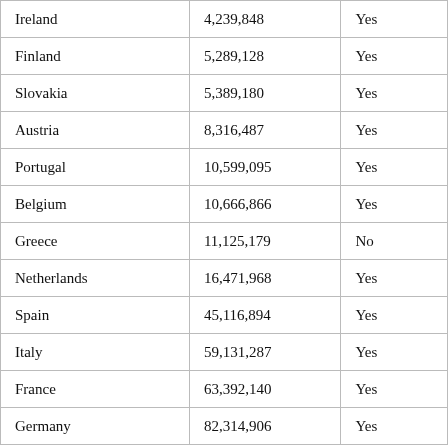| Ireland | 4,239,848 | Yes |
| Finland | 5,289,128 | Yes |
| Slovakia | 5,389,180 | Yes |
| Austria | 8,316,487 | Yes |
| Portugal | 10,599,095 | Yes |
| Belgium | 10,666,866 | Yes |
| Greece | 11,125,179 | No |
| Netherlands | 16,471,968 | Yes |
| Spain | 45,116,894 | Yes |
| Italy | 59,131,287 | Yes |
| France | 63,392,140 | Yes |
| Germany | 82,314,906 | Yes |